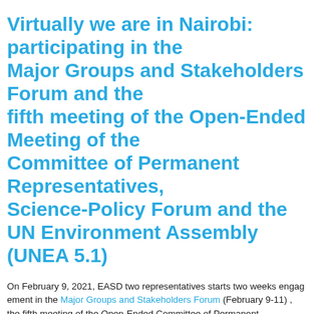Virtually we are in Nairobi: participating in the Major Groups and Stakeholders Forum and the fifth meeting of the Open-Ended Meeting of the Committee of Permanent Representatives, Science-Policy Forum and the UN Environment Assembly (UNEA 5.1)
On February 9, 2021, EASD two representatives starts two weeks engagement in the Major Groups and Stakeholders Forum (February 9-11) , the fifth meeting of the Open-Ended Committee of Permanent Representatives (February 15-16), Science-Policy Forum and UN Environment Assembly (UNEA 5.1), February 22-23.
We are starting with the consultations considering the following themes: Nature Based Solutions and Stockholm + 50, as well as main messages from Major Groups and Stakeholders. Environmental Ambassadors for Sustainable Development is accredited ... Regional Consultation Meeting for Europe in preparation for UNEA 5 – R...